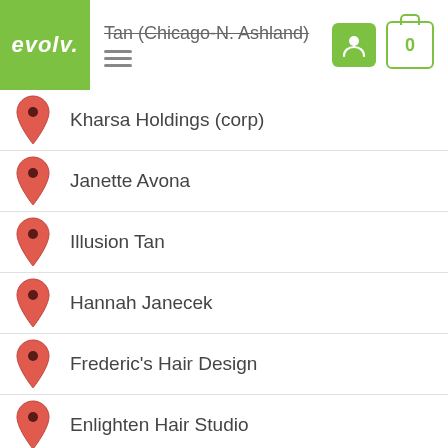evolv. | Tan (Chicago-N. Ashland)
Kharsa Holdings (corp)
Janette Avona
Illusion Tan
Hannah Janecek
Frederic's Hair Design
Enlighten Hair Studio